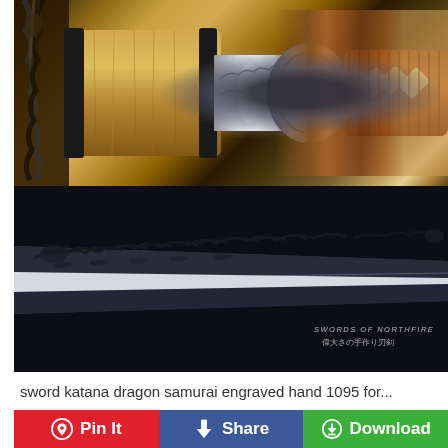[Figure (photo): Two close-up photos of a katana sword: top image shows the tsuba (guard), habaki (collar), and saya (scabbard) area with a natural wood and black fittings, with a round steel guard; the handle wrapped in brown cord with diamond pattern. Bottom image shows the blade of the katana with an engraved dragon motif along the length.]
sword katana dragon samurai engraved hand 1095 for...
Pin It
Share
Download